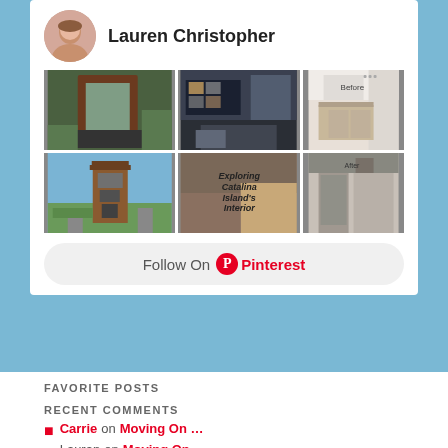Lauren Christopher
[Figure (screenshot): Pinterest profile grid showing 6 home/interior photos: outdoor water wall, dark living room with shelves, bathroom 'Before', tower building, Exploring Catalina Island's Interior text overlay, bathroom 'After']
Follow On Pinterest
FAVORITE POSTS
RECENT COMMENTS
Carrie on Moving On …
Lauran on Moving On …